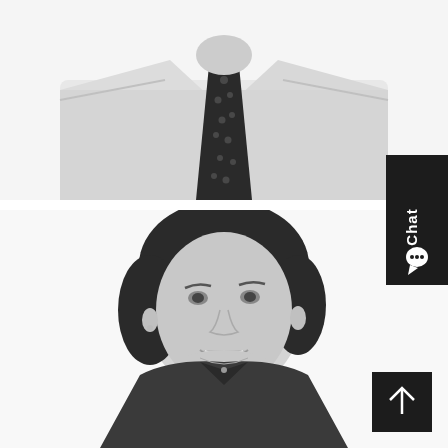[Figure (photo): Black and white headshot of a man wearing a white dress shirt and a dark tie with small star or cross pattern. Only the torso and bottom of the chin are visible — the head is cropped out.]
[Figure (photo): Black and white professional headshot portrait of a smiling woman with short dark bob haircut wearing a dark V-neck sweater and a small pendant necklace.]
[Figure (other): Dark rectangular chat button widget on the right side with 'Chat' text rotated vertically and a speech bubble icon.]
[Figure (other): Dark square scroll-to-top button in the bottom right corner with an upward arrow.]